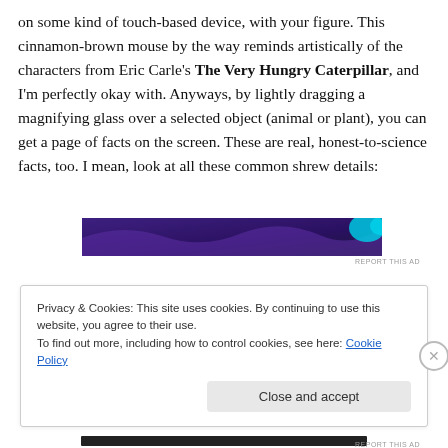on some kind of touch-based device, with your figure. This cinnamon-brown mouse by the way reminds artistically of the characters from Eric Carle's The Very Hungry Caterpillar, and I'm perfectly okay with. Anyways, by lightly dragging a magnifying glass over a selected object (animal or plant), you can get a page of facts on the screen. These are real, honest-to-science facts, too. I mean, look at all these common shrew details:
[Figure (other): Advertisement banner with purple and blue gradient background]
Privacy & Cookies: This site uses cookies. By continuing to use this website, you agree to their use.
To find out more, including how to control cookies, see here: Cookie Policy